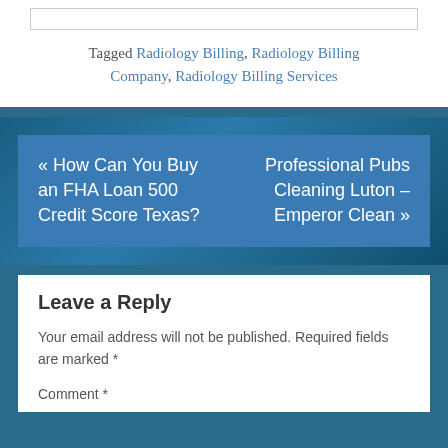Tagged Radiology Billing, Radiology Billing Company, Radiology Billing Services
« How Can You Buy an FHA Loan 500 Credit Score Texas?
Professional Pubs Cleaning Luton – Emperor Clean »
Leave a Reply
Your email address will not be published. Required fields are marked *
Comment *